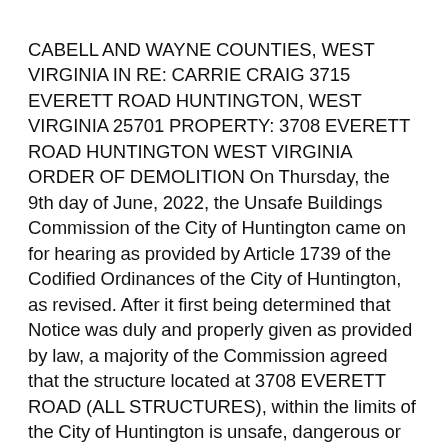CABELL AND WAYNE COUNTIES, WEST VIRGINIA IN RE: CARRIE CRAIG 3715 EVERETT ROAD HUNTINGTON, WEST VIRGINIA 25701 PROPERTY: 3708 EVERETT ROAD HUNTINGTON WEST VIRGINIA ORDER OF DEMOLITION On Thursday, the 9th day of June, 2022, the Unsafe Buildings Commission of the City of Huntington came on for hearing as provided by Article 1739 of the Codified Ordinances of the City of Huntington, as revised. After it first being determined that Notice was duly and properly given as provided by law, a majority of the Commission agreed that the structure located at 3708 EVERETT ROAD (ALL STRUCTURES), within the limits of the City of Huntington is unsafe, dangerous or detrimental to the public welfare and should be demolished. Therefore, it is hereby ORDERED that the structure located at 3708 EVERETT ROAD (ALL